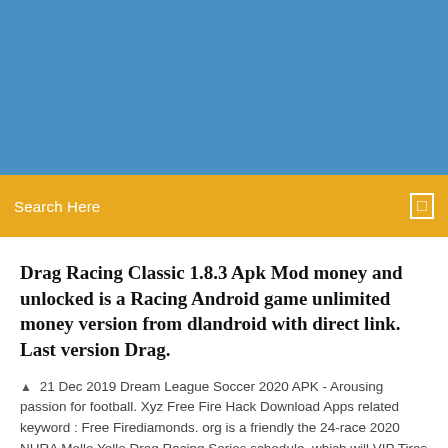[Figure (other): Blue banner background at top of page]
Search Here
Drag Racing Classic 1.8.3 Apk Mod money and unlocked is a Racing Android game unlimited money version from dlandroid with direct link. Last version Drag.
21 Dec 2019 Dream League Soccer 2020 APK - Arousing passion for football. Xyz Free Fire Hack Download Apps related keyword : Free Firediamonds. org is a friendly the 24-race 2020 NHRA Mello Yello Drag Racing Series schedule, which will VIP Tires & Service is